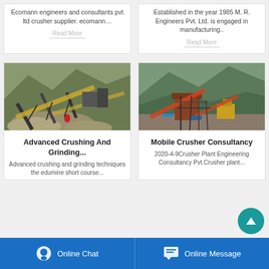Ecomann engineers and consultants pvt ltd crusher supplier. ecomann…
Read More
Established in the year 1985 M. R. Engineers Pvt. Ltd. is engaged in manufacturing..
Read More
[Figure (photo): Industrial crusher/conveyor plant with gravel mounds and conveyor belts on hillside]
Advanced Crushing And Grinding...
Advanced crushing and grinding techniques the edumine short course...
[Figure (photo): Mobile crusher plant construction site with machinery and green hillside background]
Mobile Crusher Consultancy
2020-4-9Crusher Plant Engineering Consultancy Pvt.Crusher plant...
Online Chat   Online Message